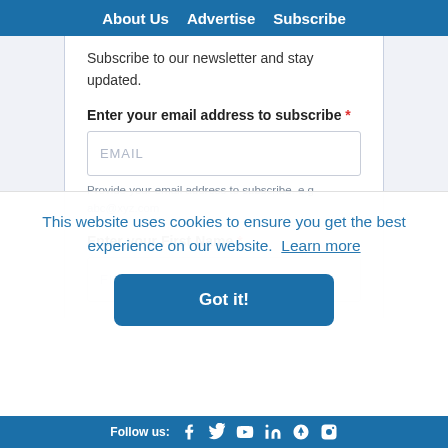About Us   Advertise   Subscribe
Subscribe to our newsletter and stay updated.
Enter your email address to subscribe *
Provide your email address to subscribe. e.g abc@xyz.com
Enter your First Name *
This website uses cookies to ensure you get the best experience on our website. Learn more
Got it!
Follow us: